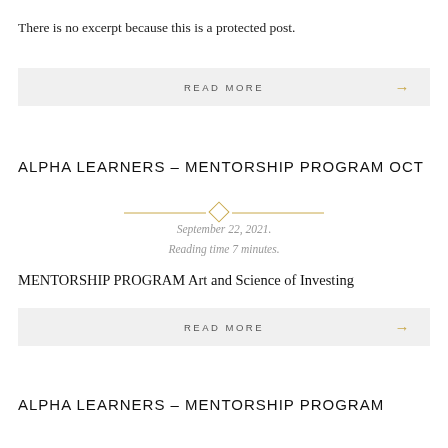There is no excerpt because this is a protected post.
READ MORE →
ALPHA LEARNERS – MENTORSHIP PROGRAM OCT
September 22, 2021.
Reading time 7 minutes.
MENTORSHIP PROGRAM Art and Science of Investing
READ MORE →
ALPHA LEARNERS – MENTORSHIP PROGRAM